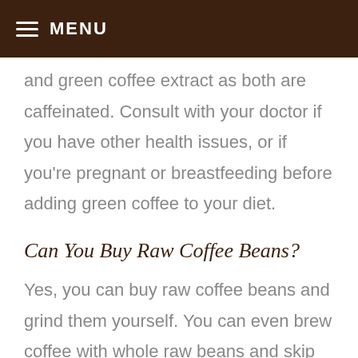MENU
and green coffee extract as both are caffeinated. Consult with your doctor if you have other health issues, or if you're pregnant or breastfeeding before adding green coffee to your diet.
Can You Buy Raw Coffee Beans?
Yes, you can buy raw coffee beans and grind them yourself. You can even brew coffee with whole raw beans and skip the grinding part